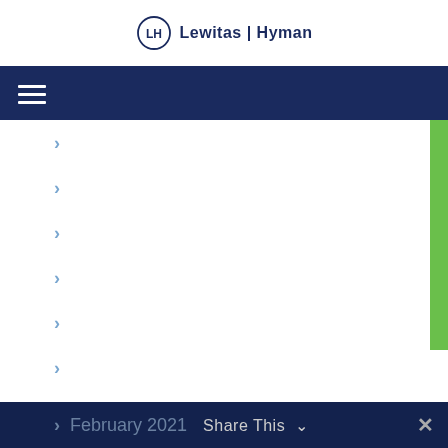Lewitas | Hyman
March 2022
February 2022
January 2022
December 2021
November 2021
October 2021
September 2021
August 2021
February 2021  Share This  ×